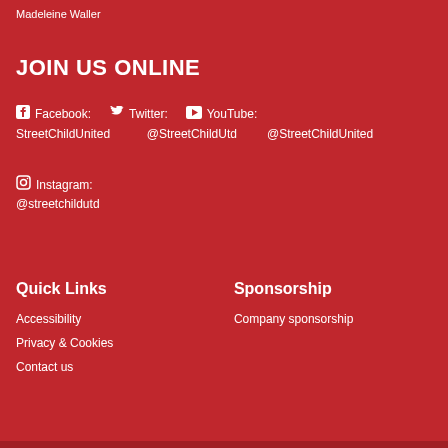Madeleine Waller
JOIN US ONLINE
Facebook: StreetChildUnited  Twitter: @StreetChildUtd  YouTube: @StreetChildUnited
Instagram: @streetchildutd
Quick Links
Sponsorship
Accessibility
Privacy & Cookies
Contact us
Company sponsorship